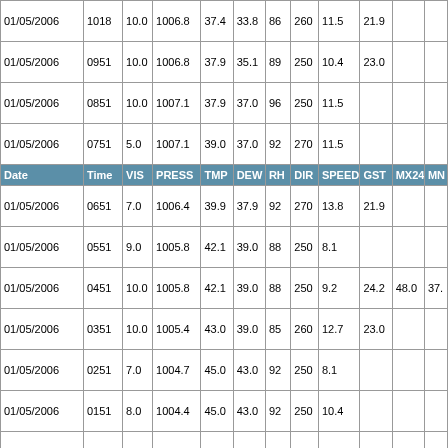| Date | Time | VIS | PRESS | TMP | DEW | RH | DIR | SPEED | GST | MX24 | MN |
| --- | --- | --- | --- | --- | --- | --- | --- | --- | --- | --- | --- |
| 01/05/2006 | 1018 | 10.0 | 1006.8 | 37.4 | 33.8 | 86 | 260 | 11.5 | 21.9 |  |  |
| 01/05/2006 | 0951 | 10.0 | 1006.8 | 37.9 | 35.1 | 89 | 250 | 10.4 | 23.0 |  |  |
| 01/05/2006 | 0851 | 10.0 | 1007.1 | 37.9 | 37.0 | 96 | 250 | 11.5 |  |  |  |
| 01/05/2006 | 0751 | 5.0 | 1007.1 | 39.0 | 37.0 | 92 | 270 | 11.5 |  |  |  |
| HEADER |  |  |  |  |  |  |  |  |  |  |  |
| 01/05/2006 | 0651 | 7.0 | 1006.4 | 39.9 | 37.9 | 92 | 270 | 13.8 | 21.9 |  |  |
| 01/05/2006 | 0551 | 9.0 | 1005.8 | 42.1 | 39.0 | 88 | 250 | 8.1 |  |  |  |
| 01/05/2006 | 0451 | 10.0 | 1005.8 | 42.1 | 39.0 | 88 | 250 | 9.2 | 24.2 | 48.0 | 37. |
| 01/05/2006 | 0351 | 10.0 | 1005.4 | 43.0 | 39.0 | 85 | 260 | 12.7 | 23.0 |  |  |
| 01/05/2006 | 0251 | 7.0 | 1004.7 | 45.0 | 43.0 | 92 | 250 | 8.1 |  |  |  |
| 01/05/2006 | 0151 | 8.0 | 1004.4 | 45.0 | 43.0 | 92 | 250 | 10.4 |  |  |  |
| 01/05/2006 | 0051 | 7.0 | 1004.4 | 44.1 | 42.1 | 92 | 180 | 3.5 |  |  |  |